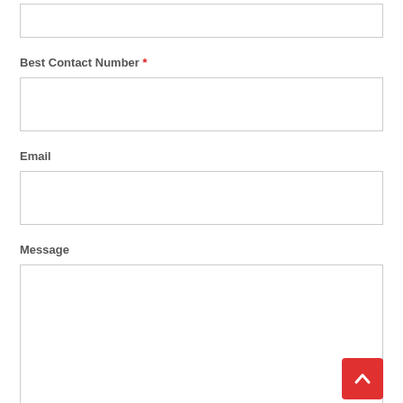[Figure (screenshot): Top portion of a form input field, partially visible at the top of the page]
Best Contact Number *
[Figure (screenshot): Empty text input field for Best Contact Number]
Email
[Figure (screenshot): Empty text input field for Email]
Message
[Figure (screenshot): Large empty textarea for Message with a red scroll-to-top button in the bottom right corner]